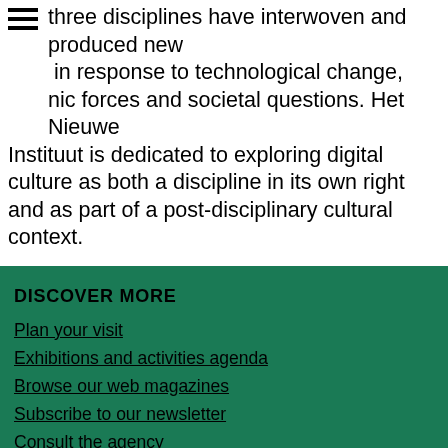three disciplines have interwoven and produced new [forms] in response to technological change, [dynami]c forces and societal questions. Het Nieuwe Instituut is dedicated to exploring digital culture as both a discipline in its own right and as part of a post-disciplinary cultural context.
DISCOVER MORE
Plan your visit
Exhibitions and activities agenda
Browse our web magazines
Subscribe to our newsletter
Consult the agency
Search the collection
We use cookies on this website. Read more about this in our cookiestatement.
accept | refuse